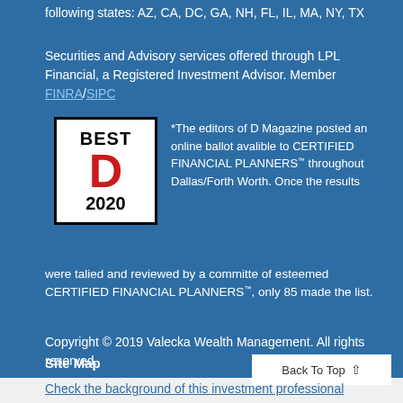following states: AZ, CA, DC, GA, NH, FL, IL, MA, NY, TX
Securities and Advisory services offered through LPL Financial, a Registered Investment Advisor. Member FINRA/SIPC
[Figure (logo): Best D 2020 award logo — black border box with 'BEST' text, large red D letter, and '2020' year]
*The editors of D Magazine posted an online ballot avalible to CERTIFIED FINANCIAL PLANNERS™ throughout Dallas/Forth Worth. Once the results were talied and reviewed by a committe of esteemed CERTIFIED FINANCIAL PLANNERS™, only 85 made the list.
Copyright © 2019 Valecka Wealth Management. All rights reserved.
Site Map
Back To Top
Check the background of this investment professional